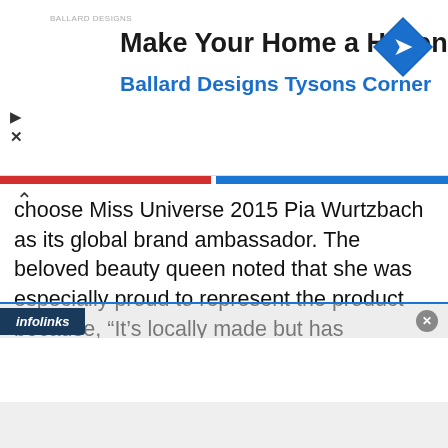[Figure (screenshot): Advertisement banner for Ballard Designs Tysons Corner with navigation icon]
Make Your Home a Haven
Ballard Designs Tysons Corner
choose Miss Universe 2015 Pia Wurtzbach as its global brand ambassador. The beloved beauty queen noted that she was especially proud to represent the product because, “It’s locally made but has international quality!”
[Figure (photo): Green pump dispenser top of a product bottle]
[Figure (logo): Infolinks advertising logo]